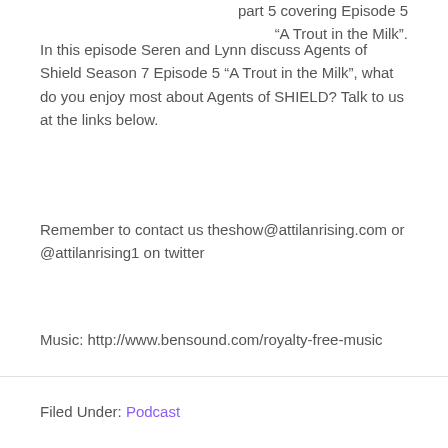part 5 covering Episode 5 “A Trout in the Milk”.
In this episode Seren and Lynn discuss Agents of Shield Season 7 Episode 5 “A Trout in the Milk”, what do you enjoy most about Agents of SHIELD? Talk to us at the links below.
Remember to contact us theshow@attilanrising.com or @attilanrising1 on twitter
Music: http://www.bensound.com/royalty-free-music
Filed Under: Podcast